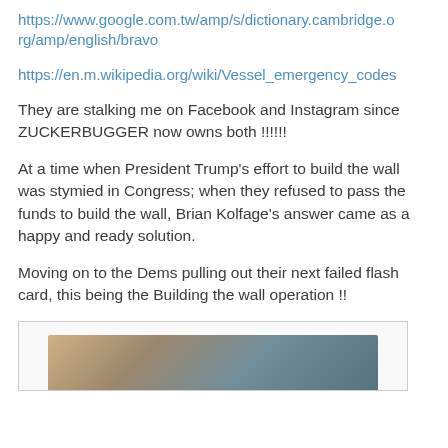https://www.google.com.tw/amp/s/dictionary.cambridge.org/amp/english/bravo
https://en.m.wikipedia.org/wiki/Vessel_emergency_codes
They are stalking me on Facebook and Instagram since ZUCKERBUGGER now owns both !!!!!!
At a time when President Trump's effort to build the wall was stymied in Congress; when they refused to pass the funds to build the wall, Brian Kolfage's answer came as a happy and ready solution.
Moving on to the Dems pulling out their next failed flash card, this being the Building the wall operation !!
[Figure (photo): Partial view of an image showing what appears to be books or similar objects with brown, tan and blue tones, partially visible at the bottom of the page.]